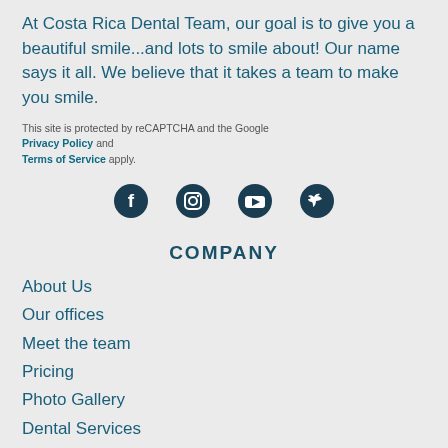At Costa Rica Dental Team, our goal is to give you a beautiful smile...and lots to smile about! Our name says it all. We believe that it takes a team to make you smile.
This site is protected by reCAPTCHA and the Google Privacy Policy and Terms of Service apply.
[Figure (infographic): Social media icons: Facebook, Instagram, YouTube, Twitter]
COMPANY
About Us
Our offices
Meet the team
Pricing
Photo Gallery
Dental Services
OUR SERVICES